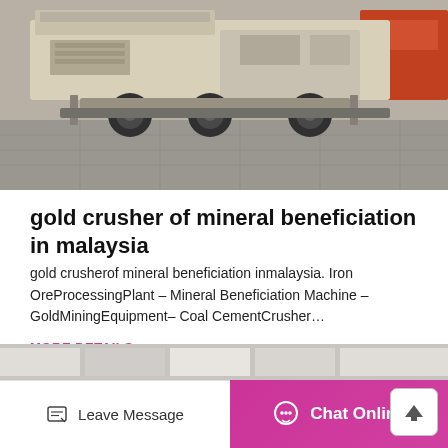[Figure (photo): Photo of a large yellow/cream colored mobile crushing machine on wheels, parked on a paved concrete area, with orange equipment visible in the background.]
gold crusher of mineral beneficiation in malaysia
gold crusherof mineral beneficiation inmalaysia. Iron OreProcessingPlant – Mineral Beneficiation Machine – GoldMiningEquipment– Coal CementCrusher…
MORE DETAILS
[Figure (photo): Partial preview of the next card image at the bottom of the page.]
Leave Message
Chat Online